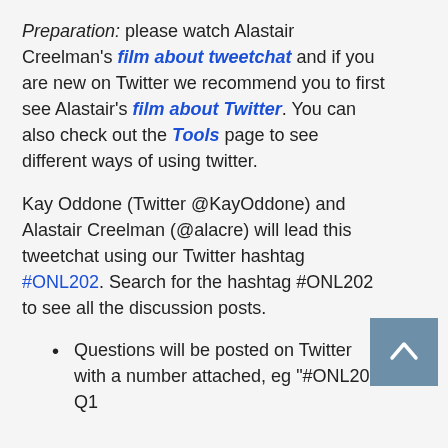Preparation: please watch Alastair Creelman's film about tweetchat and if you are new on Twitter we recommend you to first see Alastair's film about Twitter. You can also check out the Tools page to see different ways of using twitter.
Kay Oddone (Twitter @KayOddone) and Alastair Creelman (@alacre) will lead this tweetchat using our Twitter hashtag #ONL202. Search for the hashtag #ONL202 to see all the discussion posts.
Questions will be posted on Twitter with a number attached, eg "#ONL202 Q1